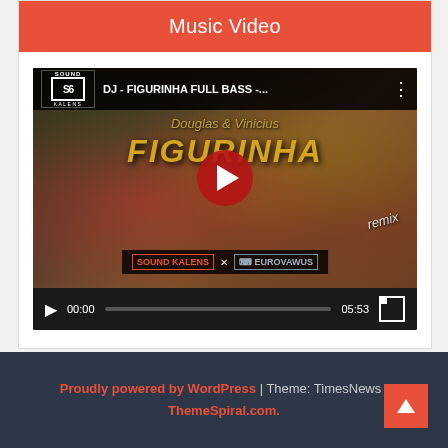Music Video
[Figure (screenshot): YouTube-style video player showing 'DJ - FIGURINHA FULL BASS -...' with thumbnail featuring 'Douglas & Vinicius FIGURINHA remix' text over a floral background, play button in center, time 00:00 / 05:53]
Proudly powered by WordPress | Theme: TimesNews | ThemeSpiral.com.